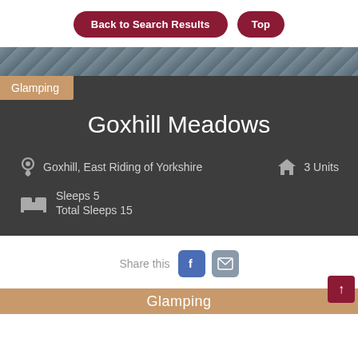[Figure (screenshot): Navigation buttons: 'Back to Search Results' and 'Top' styled as dark red rounded buttons on white background]
[Figure (photo): Narrow photographic strip showing water/outdoor scene with dark tones]
Glamping
Goxhill Meadows
Goxhill, East Riding of Yorkshire   3 Units
Sleeps 5
Total Sleeps 15
Share this
[Figure (infographic): Facebook share button (blue rounded square) and email share button (grey rounded square)]
Glamping